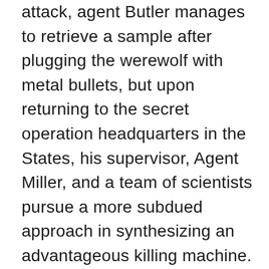attack, agent Butler manages to retrieve a sample after plugging the werewolf with metal bullets, but upon returning to the secret operation headquarters in the States, his supervisor, Agent Miller, and a team of scientists pursue a more subdued approach in synthesizing an advantageous killing machine. The unhinged and impatient Butler injects himself with the remaining blood sample, transforming him into a blood thirsty werewolf. After attacking and killing a scientist, Agent Miller neutralizes the beast and places him in cryogenic suspension, hidden away in the secured basement, for future sinister endeavors. Twenty years later, a new secret operation headquarters building is erected after the first burns down, clearing the way for a new team of scientist developing game changing medical technology for burn and cancer victims by creating artificial skin out of metal, but when the project is suddenly taken